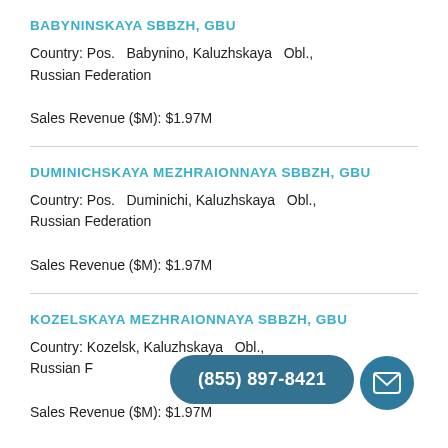BABYNINSKAYA SBBZH, GBU
Country: Pos.  Babynino, Kaluzhskaya  Obl., Russian Federation
Sales Revenue ($M): $1.97M
DUMINICHSKAYA MEZHRAIONNAYA SBBZH, GBU
Country: Pos.  Duminichi, Kaluzhskaya  Obl., Russian Federation
Sales Revenue ($M): $1.97M
KOZELSKAYA MEZHRAIONNAYA SBBZH, GBU
Country: Kozelsk, Kaluzhskaya  Obl., Russian Federation
Sales Revenue ($M): $1.97M